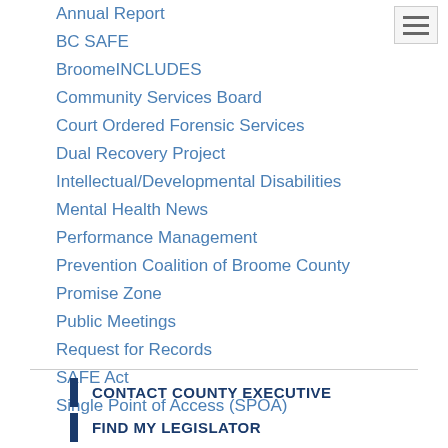Annual Report
BC SAFE
BroomeINCLUDES
Community Services Board
Court Ordered Forensic Services
Dual Recovery Project
Intellectual/Developmental Disabilities
Mental Health News
Performance Management
Prevention Coalition of Broome County
Promise Zone
Public Meetings
Request for Records
SAFE Act
Single Point of Access (SPOA)
CONTACT COUNTY EXECUTIVE
FIND MY LEGISLATOR